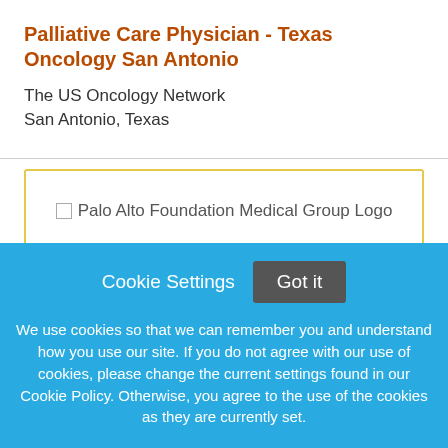Palliative Care Physician - Texas Oncology San Antonio
The US Oncology Network
San Antonio, Texas
[Figure (logo): Palo Alto Foundation Medical Group Logo (broken image placeholder)]
Palliative Care Physician BC/BE - Sunnyvale, CA
Cookie Settings  Got it
We use cookies so that we can remember you and understand how you use our site. If you do not agree with our use of cookies, please change the current settings found in our Cookie Policy. Otherwise, you agree to the use of the cookies as they are currently set.